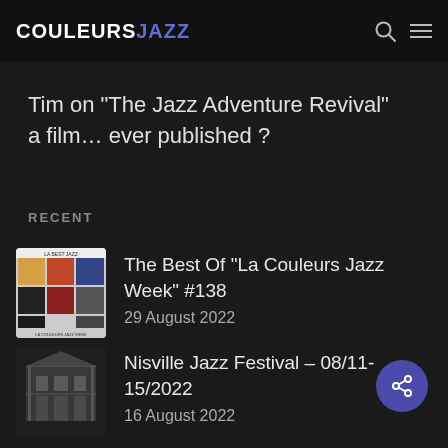COULEURS JAZZ
Tim on “The Jazz Adventure Revival” a film… ever published ?
RECENT
The Best Of “La Couleurs Jazz Week” #138
29 August 2022
Nisville Jazz Festival – 08/11-15/2022
16 August 2022